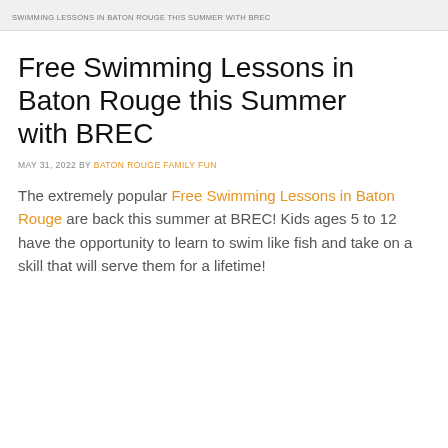SWIMMING LESSONS IN BATON ROUGE THIS SUMMER WITH BREC
Free Swimming Lessons in Baton Rouge this Summer with BREC
MAY 31, 2022 BY BATON ROUGE FAMILY FUN
The extremely popular Free Swimming Lessons in Baton Rouge are back this summer at BREC! Kids ages 5 to 12 have the opportunity to learn to swim like fish and take on a skill that will serve them for a lifetime!